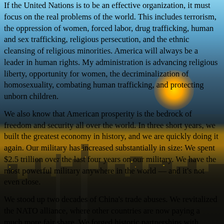[Figure (photo): Background photo of a city skyline at sunset with tall skyscrapers and dramatic sky]
If the United Nations is to be an effective organization, it must focus on the real problems of the world. This includes terrorism, the oppression of women, forced labor, drug trafficking, human and sex trafficking, religious persecution, and the ethnic cleansing of religious minorities. America will always be a leader in human rights. My administration is advancing religious liberty, opportunity for women, the decriminalization of homosexuality, combating human trafficking, and protecting unborn children.

We also know that American prosperity is the bedrock of freedom and security all over the world. In three short years, we built the greatest economy in history, and we are quickly doing it again. Our military has increased substantially in size: We spent $2.5 trillion over the last four years on our military. We have the most powerful military anywhere in the world — and it's not even close.

We stood up two decades of China's trade abuses. We revitalized the NATO alliance, where other countries are now paying a much more fair share. We forged historic partnerships with Mexico, Guatemala, Honduras, and El Salvador to stop human smuggling. We are standing with the people of Cuba, Nicaragua, and Venezuela in their righteous struggle for freedom.

We withdrew from the terrible Iran nuclear deal and imposed crippling sanctions on the world's leading state sponsor of terror. We destroyed the ISIS Caliphate 100 percent and eliminated its leader...